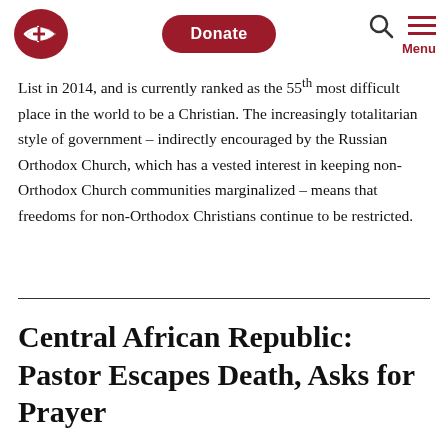Open Doors | Donate | Search | Menu
List in 2014, and is currently ranked as the 55th most difficult place in the world to be a Christian. The increasingly totalitarian style of government – indirectly encouraged by the Russian Orthodox Church, which has a vested interest in keeping non-Orthodox Church communities marginalized – means that freedoms for non-Orthodox Christians continue to be restricted.
Central African Republic: Pastor Escapes Death, Asks for Prayer